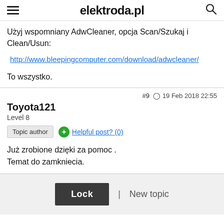elektroda.pl
Użyj wspomniany AdwCleaner, opcja Scan/Szukaj i Clean/Usun:
http://www.bleepingcomputer.com/download/adwcleaner/
To wszystko.
#9  19 Feb 2018 22:55
Toyota121
Level 8
Topic author  Helpful post? (0)
Już zrobione dzięki za pomoc .
Temat do zamkniecia.
Lock  |  New topic